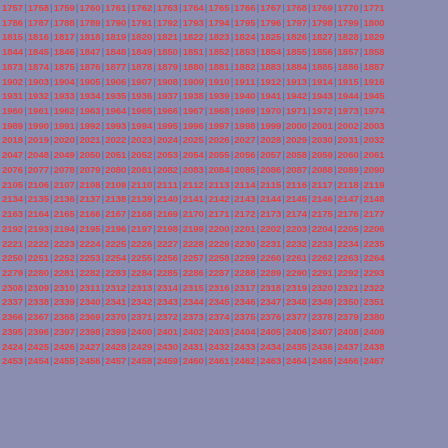Sequential number grid from 1757 to 2467, displayed as rows of numbers separated by vertical bars on a blue-gray background with red/orange numbers.